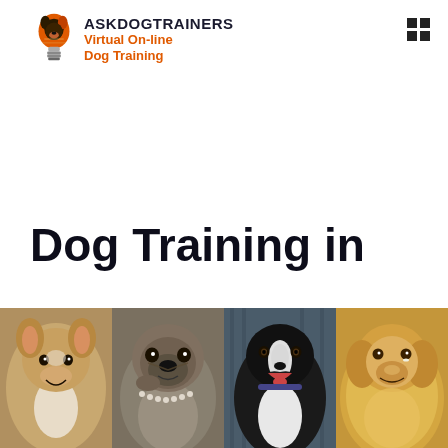[Figure (logo): AskDogTrainers logo with lightbulb icon, text 'ASKDOGTRAINERS' in dark bold, subtitle 'Virtual On-line Dog Training' in orange bold]
Dog Training in Fullerton, CA.
[Figure (photo): Four dogs side by side: a Corgi, a Pug, a Border Collie, and a Golden Retriever]